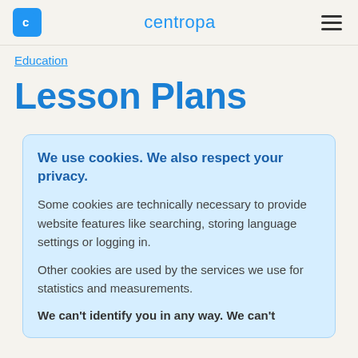centropa
Education
Lesson Plans
We use cookies. We also respect your privacy.
Some cookies are technically necessary to provide website features like searching, storing language settings or logging in.
Other cookies are used by the services we use for statistics and measurements.
We can't identify you in any way. We can't